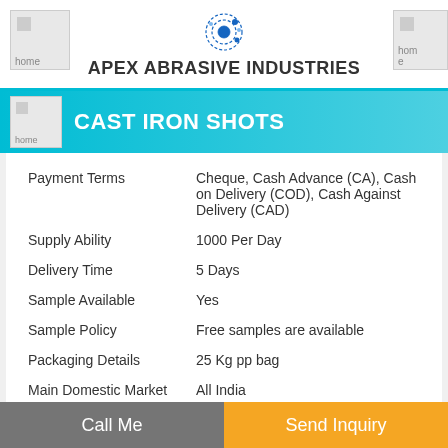APEX ABRASIVE INDUSTRIES
CAST IRON SHOTS
|  |  |
| --- | --- |
| Payment Terms | Cheque, Cash Advance (CA), Cash on Delivery (COD), Cash Against Delivery (CAD) |
| Supply Ability | 1000 Per Day |
| Delivery Time | 5 Days |
| Sample Available | Yes |
| Sample Policy | Free samples are available |
| Packaging Details | 25 Kg pp bag |
| Main Domestic Market | All India |
| Certifications | ISO |
Call Me | Send Inquiry